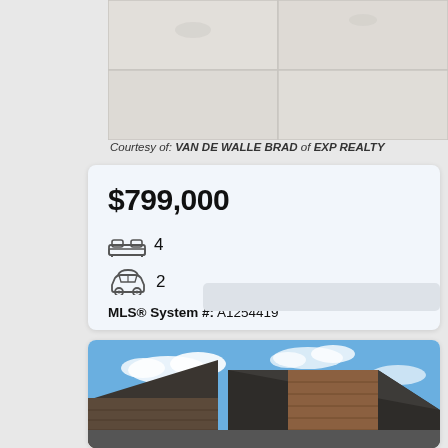[Figure (photo): Top portion of a tiled floor photo, showing light grey/white large-format tiles]
Courtesy of: VAN DE WALLE BRAD of EXP REALTY
$799,000
4 (bedrooms)
2 (garage)
MLS® System #: A1254419
[Figure (photo): Exterior photo of a house showing roofline with cedar shingles against a blue sky with white clouds]